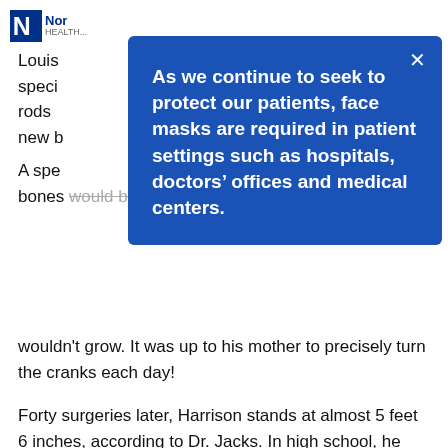Norton Healthcare (logo)
[Figure (other): Blue modal overlay with white bold text: 'As we continue to seek to protect our patients, face masks are required in patient settings such as hospitals, doctors' offices and medical centers.' with an X close button in top right corner.]
wouldn't grow. It was up to his mother to precisely turn the cranks each day!
Forty surgeries later, Harrison stands at almost 5 feet 6 inches, according to Dr. Jacks. In high school, he played basketball and threw shot put and discus. Today he is a sophomore at the University of Louisville.
“He’s preserved his personality and gumption through all that; he’s incredible,” Dr. Jacks said.